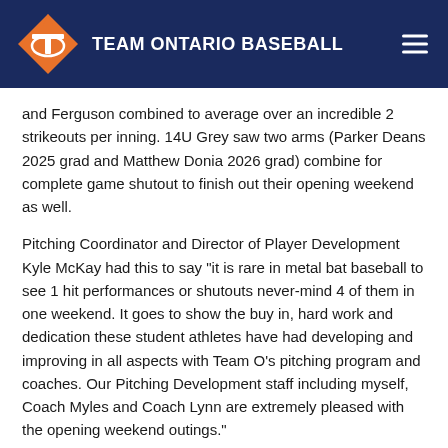TEAM ONTARIO BASEBALL
and Ferguson combined to average over an incredible 2 strikeouts per inning. 14U Grey saw two arms (Parker Deans 2025 grad and Matthew Donia 2026 grad) combine for complete game shutout to finish out their opening weekend as well.
Pitching Coordinator and Director of Player Development Kyle McKay had this to say "it is rare in metal bat baseball to see 1 hit performances or shutouts never-mind 4 of them in one weekend. It goes to show the buy in, hard work and dedication these student athletes have had developing and improving in all aspects with Team O's pitching program and coaches. Our Pitching Development staff including myself, Coach Myles and Coach Lynn are extremely pleased with the opening weekend outings."
The programs pitching side is run by coaches: